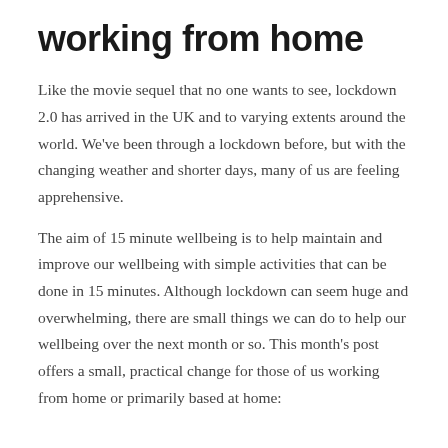working from home
Like the movie sequel that no one wants to see, lockdown 2.0 has arrived in the UK and to varying extents around the world. We've been through a lockdown before, but with the changing weather and shorter days, many of us are feeling apprehensive.
The aim of 15 minute wellbeing is to help maintain and improve our wellbeing with simple activities that can be done in 15 minutes. Although lockdown can seem huge and overwhelming, there are small things we can do to help our wellbeing over the next month or so. This month's post offers a small, practical change for those of us working from home or primarily based at home: